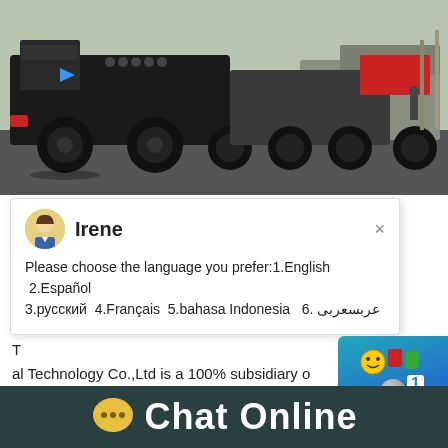[Figure (photo): Heavy road milling/paving machinery trucks lined up on a road, outdoors daytime scene. Multiple large industrial vehicles visible.]
[Figure (screenshot): Live chat popup widget with avatar of agent named 'Irene', showing language selection prompt: 'Please choose the language you prefer:1.English 2.Español 3.русский 4.Français 5.bahasa Indonesia 6. عربسعربی']
al Technology Co.,Ltd is a 100% subsidiary of process equipment manufacture. Basis on our s and close cooperation with world famous p can provide kinds of high quality process equi h as Dense Medium Vessel, kinds of
[Figure (screenshot): Chat widget on right side showing smiley face icon, number '1' badge, 'Click me to chat >>' text, and 'Enquiry' button, with teal/blue gradient background.]
Chat Online